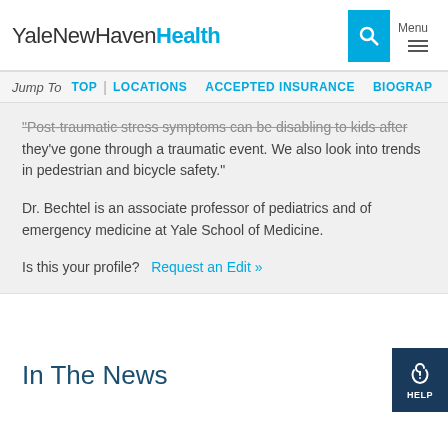YaleNewHavenHealth
Jump To  TOP  LOCATIONS  ACCEPTED INSURANCE  BIOGRAPHY
"Post-traumatic stress symptoms can be disabling to kids after they've gone through a traumatic event. We also look into trends in pedestrian and bicycle safety."
Dr. Bechtel is an associate professor of pediatrics and of emergency medicine at Yale School of Medicine.
Is this your profile?    Request an Edit »
In The News